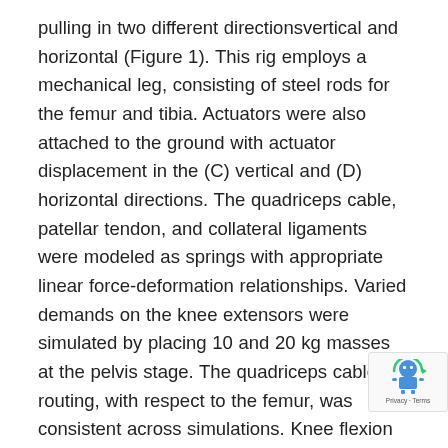pulling in two different directionsvertical and horizontal (Figure 1). This rig employs a mechanical leg, consisting of steel rods for the femur and tibia. Actuators were also attached to the ground with actuator displacement in the (C) vertical and (D) horizontal directions. The quadriceps cable, patellar tendon, and collateral ligaments were modeled as springs with appropriate linear force-deformation relationships. Varied demands on the knee extensors were simulated by placing 10 and 20 kg masses at the pelvis stage. The quadriceps cable routing, with respect to the femur, was consistent across simulations. Knee flexion angles were determined using the convention described by Grood and Suntay [6]. Mounting the actuator on the ground segment, however, significantly reduced required quadriceps force and quadriceps force did not consistently increase with flexion. Orienting the actuator horizontally resulted in less of this reduction of required
[Figure (logo): reCAPTCHA badge with robot icon and Privacy - Terms text]